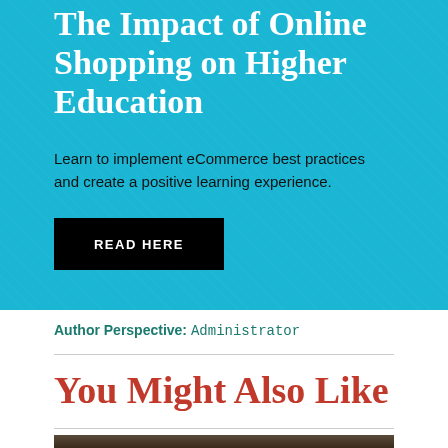The Impact of Online Shopping on Higher Education
Learn to implement eCommerce best practices and create a positive learning experience.
READ HERE
Author Perspective: Administrator
You Might Also Like
[Figure (photo): Bottom strip showing a dark brown image, likely a textbook or educational material]